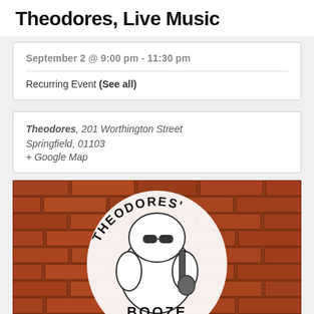Theodores, Live Music
September 2 @ 9:00 pm - 11:30 pm
Recurring Event (See all)
Theodores, 201 Worthington Street Springfield, 01103
+ Google Map
[Figure (photo): Theodores Booze & Blues logo on a brick wall background. Features a cartoon bulldog character playing guitar with text 'THEODORES' arched at top and 'BOOZE' visible at bottom.]